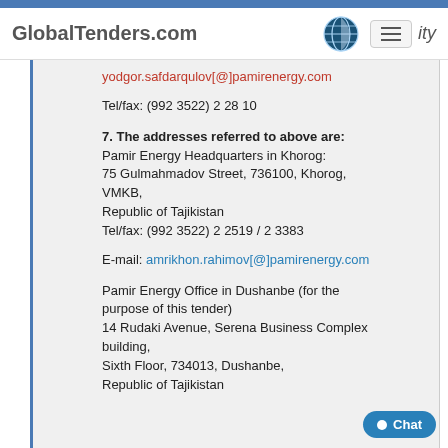GlobalTenders.com
yodgor.safdarqulov[@]pamirenergy.com
Tel/fax: (992 3522) 2 28 10
7. The addresses referred to above are:
Pamir Energy Headquarters in Khorog:
75 Gulmahmadov Street, 736100, Khorog, VMKB,
Republic of Tajikistan
Tel/fax: (992 3522) 2 2519 / 2 3383
E-mail: amrikhon.rahimov[@]pamirenergy.com
Pamir Energy Office in Dushanbe (for the purpose of this tender)
14 Rudaki Avenue, Serena Business Complex building,
Sixth Floor, 734013, Dushanbe,
Republic of Tajikistan